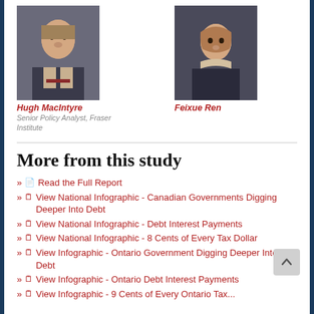[Figure (photo): Headshot of Hugh MacIntyre, a young man in a suit]
[Figure (photo): Headshot of Feixue Ren, a woman with shoulder-length brown hair in professional attire]
Hugh MacIntyre
Senior Policy Analyst, Fraser Institute
Feixue Ren
More from this study
Read the Full Report
View National Infographic - Canadian Governments Digging Deeper Into Debt
View National Infographic - Debt Interest Payments
View National Infographic - 8 Cents of Every Tax Dollar
View Infographic - Ontario Government Digging Deeper Into Debt
View Infographic - Ontario Debt Interest Payments
View Infographic - 9 Cents of Every Ontario Tax...